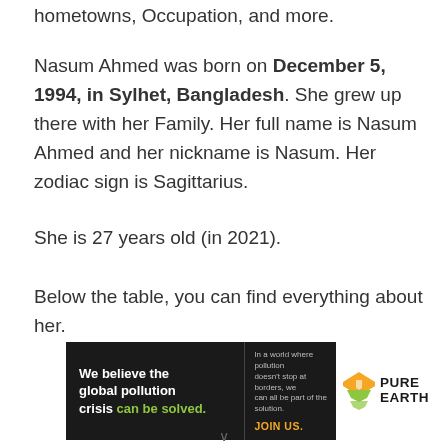hometowns, Occupation, and more.
Nasum Ahmed was born on December 5, 1994, in Sylhet, Bangladesh. She grew up there with her Family. Her full name is Nasum Ahmed and her nickname is Nasum. Her zodiac sign is Sagittarius.
She is 27 years old (in 2021).
Below the table, you can find everything about her.
[Figure (illustration): Advertisement banner for Pure Earth organization. Black background left section reads 'We believe the global pollution crisis can be solved.' with 'can be solved.' in green. Middle section reads 'In a world where pollution doesn't stop at borders, we can all be part of the solution. JOIN US.' in yellow. Right white section shows Pure Earth logo with diamond/chevron icon in orange and green.]